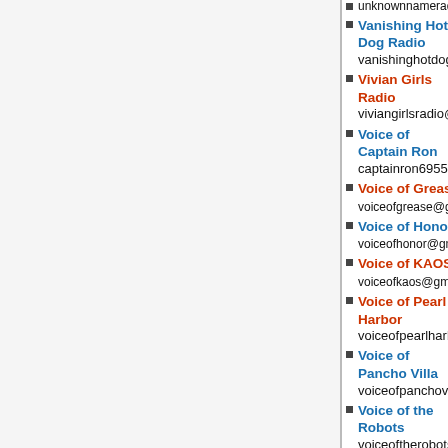unknownnameradio@hotmail.com
Vanishing Hot Dog Radio
vanishinghotdogradio@gmail.com
Vivian Girls Radio
viviangirlsradio@gmail.com
Voice of Captain Ron
captainron6955@hotmail.com
Voice of Grease voiceofgrease@gmail.com
Voice of Honor voiceofhonor@gmail.com
Voice of KAOS voiceofkaos@gmail.com
Voice of Pearl Harbor
voiceofpearlharbor@gmail.com
Voice of Pancho Villa
voiceofpanchovilla@yahoo.com
Voice of the Robots
voiceoftherobots@gmail.com
Voice of Weird Al
voiceofweirdal@gmail.com
WBOG wbog@pmlol.com
WEAK weakradio@gmail.com
WEEK Radio
weekradioshortwave@gmail.com
WGAY Radio sissyboyradio@gmail.com